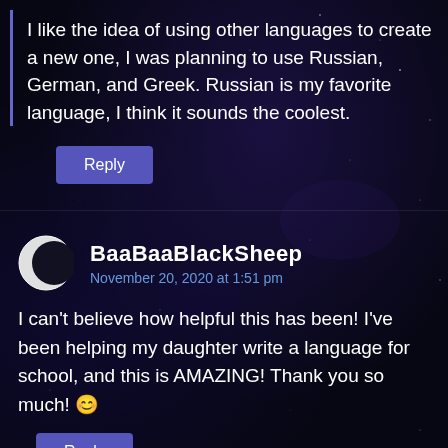I like the idea of using other languages to create a new one, I was planning to use Russian, German, and Greek. Russian is my favorite language, I think it sounds the coolest.
Reply
BaaBaaBlackSheep
November 20, 2020 at 1:51 pm
I can't believe how helpful this has been! I've been helping my daughter write a language for school, and this is AMAZING! Thank you so much! 😊
Reply